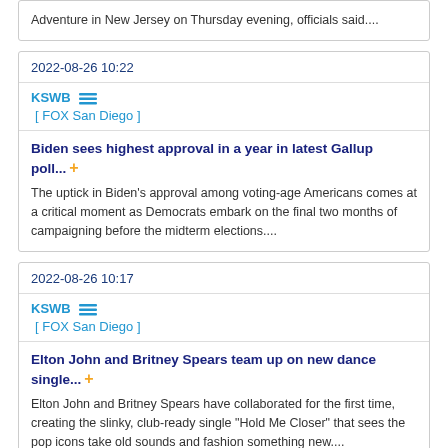Adventure in New Jersey on Thursday evening, officials said....
2022-08-26 10:22
KSWB [ FOX San Diego ]
Biden sees highest approval in a year in latest Gallup poll... + The uptick in Biden's approval among voting-age Americans comes at a critical moment as Democrats embark on the final two months of campaigning before the midterm elections....
2022-08-26 10:17
KSWB [ FOX San Diego ]
Elton John and Britney Spears team up on new dance single... + Elton John and Britney Spears have collaborated for the first time, creating the slinky, club-ready single "Hold Me Closer" that sees the pop icons take old sounds and fashion something new....